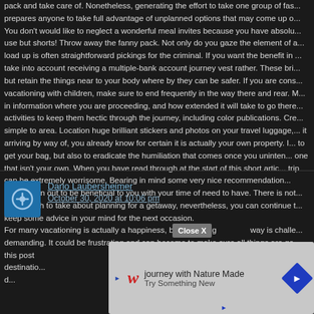pack and take care of. Nonetheless, generating the effort to take one group of fas... prepares anyone to take full advantage of unplanned options that may come up o... You don't would like to neglect a wonderful meal invites because you have absolu... use but shorts! Throw away the fanny pack. Not only do you gaze the element of a... load up is often straightforward pickings for the criminal. If you want the benefit in ... take into account receiving a multiple-bank account journey vest rather. These bri... but retain the things near to your body where by they can be safer. If you are cons... vacationing with children, make sure to end frequently in the way there and rear. M... in information where you are proceeding, and how extended it will take to go there... activities to keep them hectic through the journey, including color publications. Cre... simple to area. Location huge brilliant stickers and photos on your travel luggage,... it arriving by way of, you already know for certain it is actually your own property. I... to get your bag, but also to eradicate the humiliation that comes once you uninten... one that isn't your own. When you have read through at the start of this short artic... trip can be extremely worrisome. Bearing in mind some very nice recommendation... always turn out to be beneficial to you with your time of need to have. There is not... wrong path to take about planning for a getaway, nevertheless, you can continue t... keep some advice in your mind for the next occasion.
Dario Laubersheimer
October 30, 2020 at 10:06 pm
For many vacationing is actually a happiness, but preparing... way is challe... demanding. It could be frustrating and can become to make sure all things are ge... this post ... going out to... destinatio... guidelines. Y... become d... take you to...